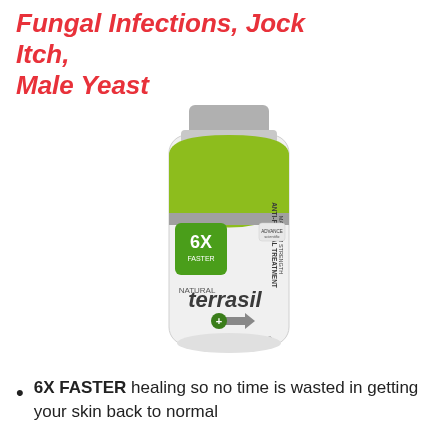Fungal Infections, Jock Itch, Male Yeast
[Figure (photo): Terrasil Anti-Fungal Treatment Maximum Strength tube with green and white label, showing 6X FASTER and Activated Minerals branding]
6X FASTER healing so no time is wasted in getting your skin back to normal